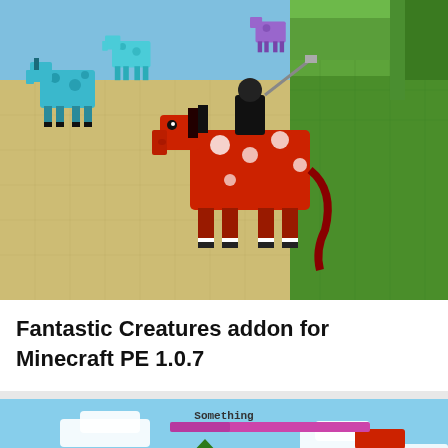[Figure (screenshot): Minecraft PE screenshot showing colorful fantasy horses/creatures on grassy and sandy terrain. A large red horse with white spots is in the center foreground, with blue spotted horses visible in the background on grass blocks.]
Fantastic Creatures addon for Minecraft PE 1.0.7
[Figure (screenshot): Minecraft PE screenshot showing a sky scene with clouds, a Christmas tree, flying objects, and UI overlays including a pink health bar labeled 'Something', a green badge reading 'Mods / 1.14.60', and coordinates '98, 87, 49'.]